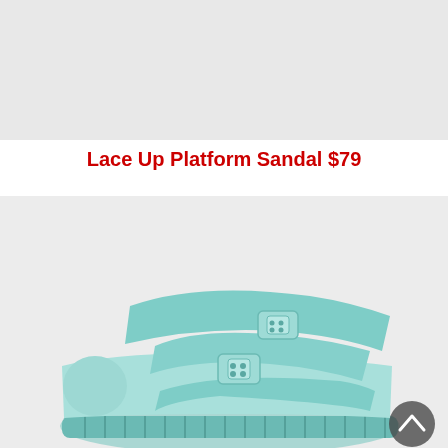[Figure (photo): Light gray placeholder image area at the top of the page, representing a product photo (top portion cut off)]
Lace Up Platform Sandal $79
[Figure (photo): Photo of a mint/light teal colored two-strap buckle sandal (Birkenstock-style) with molded EVA sole on a light gray background. A dark circular scroll-to-top button is visible in the bottom right corner.]